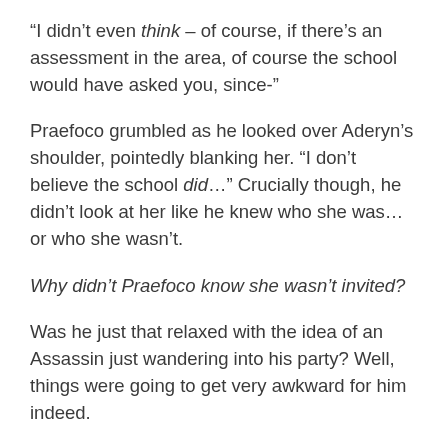“I didn’t even think – of course, if there’s an assessment in the area, of course the school would have asked you, since-”
Praefoco grumbled as he looked over Aderyn’s shoulder, pointedly blanking her. “I don’t believe the school did…” Crucially though, he didn’t look at her like he knew who she was… or who she wasn’t.
Why didn’t Praefoco know she wasn’t invited?
Was he just that relaxed with the idea of an Assassin just wandering into his party? Well, things were going to get very awkward for him indeed.
“That so, Elian?” Tully asked, and the use of a first name was an olive branch. “Bit of a shame! The Guild is a good school, and it never hurts to have good recruiting prospects on hand. You, young lady – you’ve a plan after